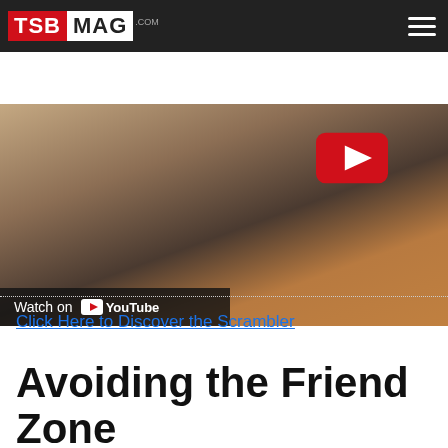TSB MAG .com
[Figure (screenshot): YouTube video thumbnail showing two men laughing, with a YouTube play button overlay and a 'Watch on YouTube' bar at the bottom.]
Click Here to Discover the Scrambler
Avoiding the Friend Zone